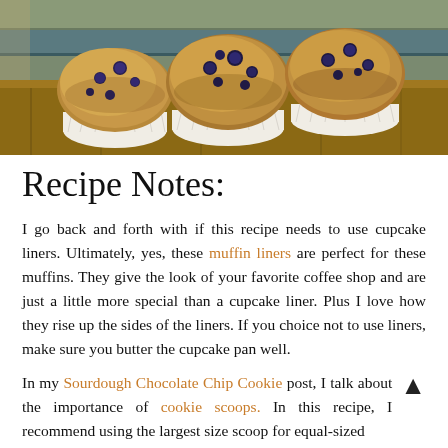[Figure (photo): Three blueberry muffins in white tulip paper liners arranged on a wooden surface with colorful background]
Recipe Notes:
I go back and forth with if this recipe needs to use cupcake liners. Ultimately, yes, these muffin liners are perfect for these muffins. They give the look of your favorite coffee shop and are just a little more special than a cupcake liner. Plus I love how they rise up the sides of the liners. If you choice not to use liners, make sure you butter the cupcake pan well.
In my Sourdough Chocolate Chip Cookie post, I talk about the importance of cookie scoops. In this recipe, I recommend using the largest size scoop for equal-sized